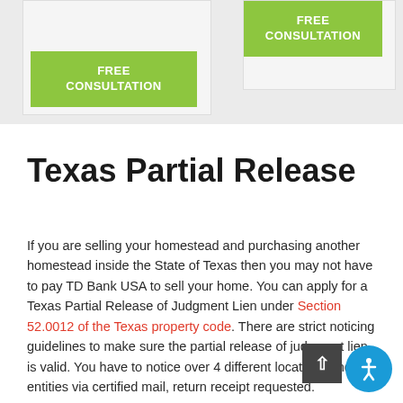[Figure (other): Two promotional cards with green 'FREE CONSULTATION' buttons on a light gray background]
Texas Partial Release
If you are selling your homestead and purchasing another homestead inside the State of Texas then you may not have to pay TD Bank USA to sell your home. You can apply for a Texas Partial Release of Judgment Lien under Section 52.0012 of the Texas property code. There are strict noticing guidelines to make sure the partial release of judgment lien is valid. You have to notice over 4 different locations and entities via certified mail, return receipt requested.